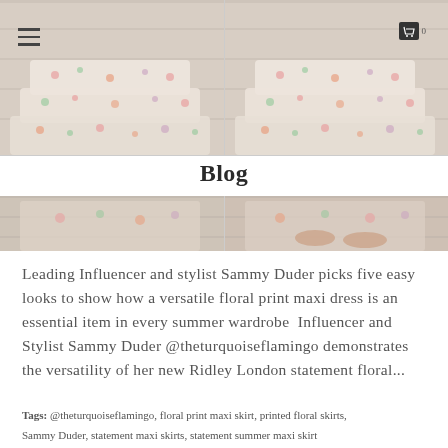[Figure (photo): Two side-by-side photos showing a floral print maxi dress with hamburger menu icon on left and cart icon on right, plus a second row of two cropped photos at the bottom showing the lower portion of the dress]
Blog
Leading Influencer and stylist Sammy Duder picks five easy looks to show how a versatile floral print maxi dress is an essential item in every summer wardrobe  Influencer and Stylist Sammy Duder @theturquoiseflamingo demonstrates the versatility of her new Ridley London statement floral...
Tags: @theturquoiseflamingo, floral print maxi skirt, printed floral skirts, Sammy Duder, statement maxi skirts, statement summer maxi skirt